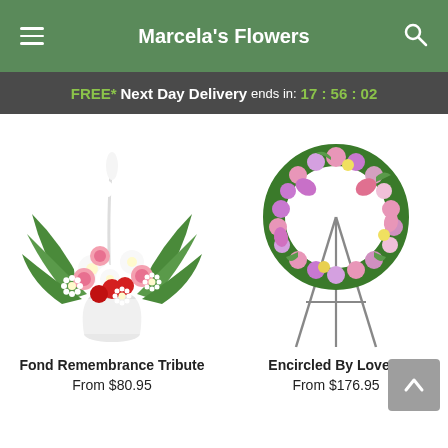Marcela's Flowers
FREE* Next Day Delivery ends in: 17 : 56 : 02
[Figure (photo): Fond Remembrance Tribute flower arrangement in white vase with white daisies, pink roses, red carnations, and green ferns]
Fond Remembrance Tribute
From $80.95
[Figure (photo): Encircled By Love wreath of pink and purple flowers on a metal easel stand]
Encircled By Love™
From $176.95